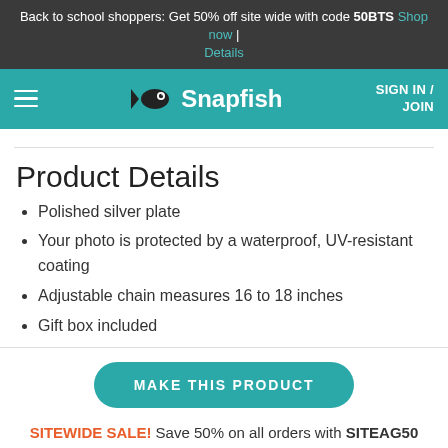Back to school shoppers: Get 50% off site wide with code 50BTS Shop now | Details
[Figure (logo): Snapfish navigation bar with hamburger menu, fish logo and Snapfish wordmark, and SIGN IN / JOIN text]
Product Details
Polished silver plate
Your photo is protected by a waterproof, UV-resistant coating
Adjustable chain measures 16 to 18 inches
Gift box included
MAKE THIS PRODUCT
SITEWIDE SALE! Save 50% on all orders with SITEAG50 See details